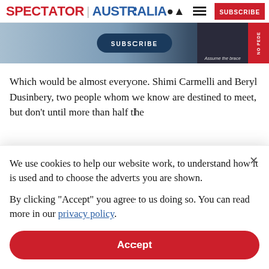SPECTATOR | AUSTRALIA
[Figure (screenshot): Banner advertisement with SUBSCRIBE button and book cover image with text 'Assume the brace']
Which would be almost everyone. Shimi Carmelli and Beryl Dusinbery, two people whom we know are destined to meet, but don't until more than half the
We use cookies to help our website work, to understand how it is used and to choose the adverts you are shown.
By clicking "Accept" you agree to us doing so. You can read more in our privacy policy.
Accept